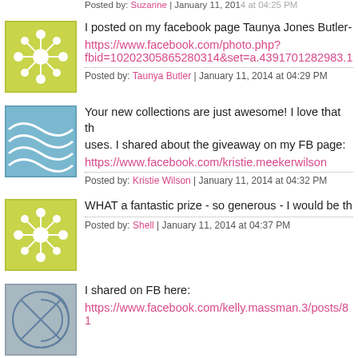Posted by: Suzanne | January 11, 2014 at 04:25 PM
I posted on my facebook page Taunya Jones Butler-
https://www.facebook.com/photo.php?fbid=10202305865280314&set=a.4391701282983.1
Posted by: Taunya Butler | January 11, 2014 at 04:29 PM
Your new collections are just awesome! I love that th... uses. I shared about the giveaway on my FB page:
https://www.facebook.com/kristie.meekerwilson
Posted by: Kristie Wilson | January 11, 2014 at 04:32 PM
WHAT a fantastic prize - so generous - I would be th...
Posted by: Shell | January 11, 2014 at 04:37 PM
I shared on FB here:
https://www.facebook.com/kelly.massman.3/posts/81